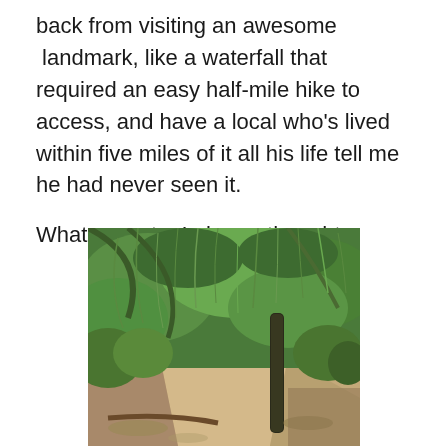back from visiting an awesome  landmark, like a waterfall that required an easy half-mile hike to access, and have a local who's lived within five miles of it all his life tell me he had never seen it.

What a waste, I always thought.
[Figure (photo): A dirt hiking trail winding through lush green desert vegetation, with overhanging tree branches forming a natural canopy. A tall dark cactus stands beside the path. Sunlight filters through the green foliage.]